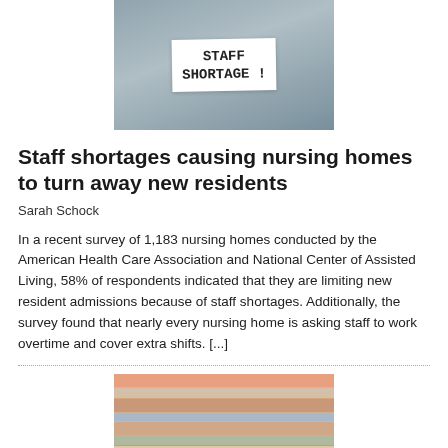[Figure (photo): Person in blue scrubs holding a white sign reading 'STAFF SHORTAGE!']
Staff shortages causing nursing homes to turn away new residents
Sarah Schock
In a recent survey of 1,183 nursing homes conducted by the American Health Care Association and National Center of Assisted Living, 58% of respondents indicated that they are limiting new resident admissions because of staff shortages. Additionally, the survey found that nearly every nursing home is asking staff to work overtime and cover extra shifts. [...]
[Figure (photo): Stack of books with Scrabble-style tiles spelling GRANT on the bottom]